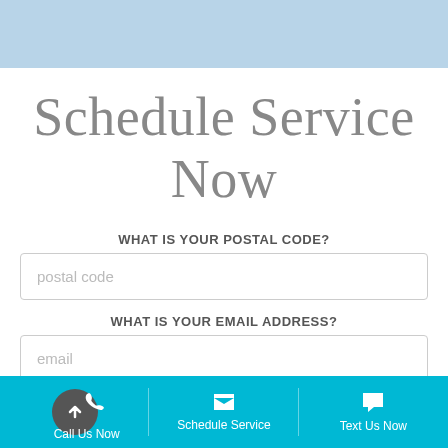[Figure (other): Light blue banner at the top of the page]
Schedule Service Now
WHAT IS YOUR POSTAL CODE?
postal code
WHAT IS YOUR EMAIL ADDRESS?
email
Call Us Now   Schedule Service   Text Us Now